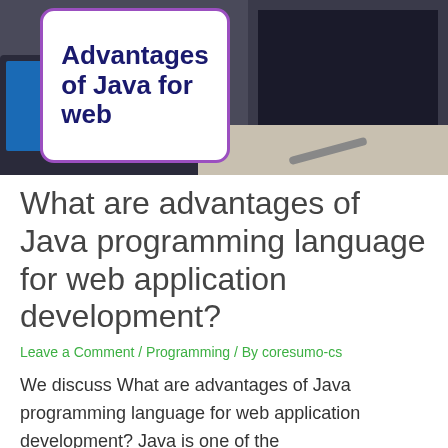[Figure (photo): Photo of computer screens on a desk with a white card overlay showing 'Advantages of Java for web' in dark navy bold text, card has a purple border]
What are advantages of Java programming language for web application development?
Leave a Comment / Programming / By coresumo-cs
We discuss What are advantages of Java programming language for web application development? Java is one of the